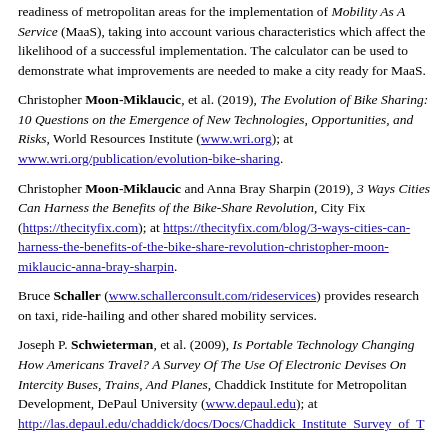readiness of metropolitan areas for the implementation of Mobility As A Service (MaaS), taking into account various characteristics which affect the likelihood of a successful implementation. The calculator can be used to demonstrate what improvements are needed to make a city ready for MaaS.
Christopher Moon-Miklaucic, et al. (2019), The Evolution of Bike Sharing: 10 Questions on the Emergence of New Technologies, Opportunities, and Risks, World Resources Institute (www.wri.org); at www.wri.org/publication/evolution-bike-sharing.
Christopher Moon-Miklaucic and Anna Bray Sharpin (2019), 3 Ways Cities Can Harness the Benefits of the Bike-Share Revolution, City Fix (https://thecityfix.com); at https://thecityfix.com/blog/3-ways-cities-can-harness-the-benefits-of-the-bike-share-revolution-christopher-moon-miklaucic-anna-bray-sharpin.
Bruce Schaller (www.schallerconsult.com/rideservices) provides research on taxi, ride-hailing and other shared mobility services.
Joseph P. Schwieterman, et al. (2009), Is Portable Technology Changing How Americans Travel? A Survey Of The Use Of Electronic Devises On Intercity Buses, Trains, And Planes, Chaddick Institute for Metropolitan Development, DePaul University (www.depaul.edu); at http://las.depaul.edu/chaddick/docs/Docs/Chaddick_Institute_Survey_of_T
Susan A. Shaheen and A.P. Cohen (2013), Innovative Mobility